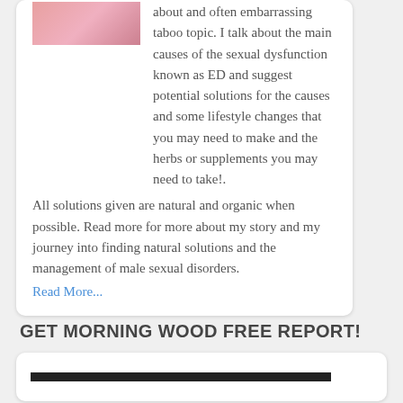[Figure (photo): Partial image of a person visible at top left of the card]
about and often embarrassing taboo topic. I talk about the main causes of the sexual dysfunction known as ED and suggest potential solutions for the causes and some lifestyle changes that you may need to make and the herbs or supplements you may need to take!.
All solutions given are natural and organic when possible. Read more for more about my story and my journey into finding natural solutions and the management of male sexual disorders.
Read More...
GET MORNING WOOD FREE REPORT!